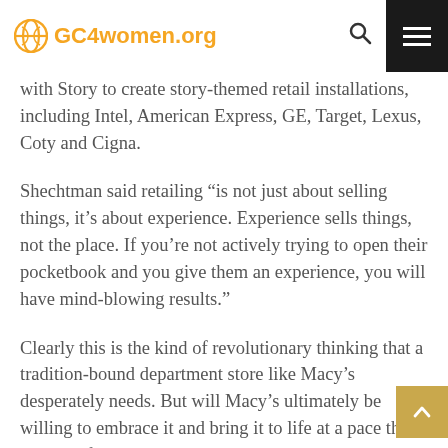GC4women.org
with Story to create story-themed retail installations, including Intel, American Express, GE, Target, Lexus, Coty and Cigna.
Shechtman said retailing “is not just about selling things, it’s about experience. Experience sells things, not the place. If you’re not actively trying to open their pocketbook and you give them an experience, you will have mind-blowing results.”
Clearly this is the kind of revolutionary thinking that a tradition-bound department store like Macy’s desperately needs. But will Macy’s ultimately be willing to embrace it and bring it to life at a pace that will satisfy a visionary like Shechtman? That’s the question.